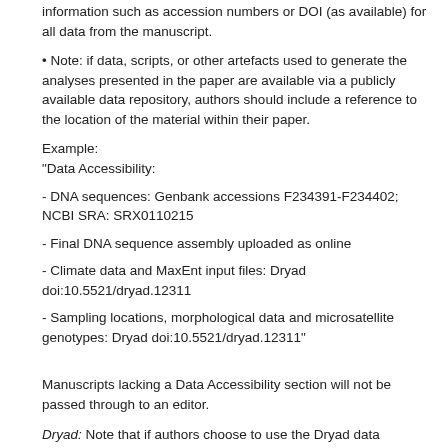information such as accession numbers or DOI (as available) for all data from the manuscript.
Note: if data, scripts, or other artefacts used to generate the analyses presented in the paper are available via a publicly available data repository, authors should include a reference to the location of the material within their paper.
Example:
"Data Accessibility:

- DNA sequences: Genbank accessions F234391-F234402; NCBI SRA: SRX0110215

- Final DNA sequence assembly uploaded as online

- Climate data and MaxEnt input files: Dryad doi:10.5521/dryad.12311

- Sampling locations, morphological data and microsatellite genotypes: Dryad doi:10.5521/dryad.12311"
Manuscripts lacking a Data Accessibility section will not be passed through to an editor.
Dryad: Note that if authors choose to use the Dryad data